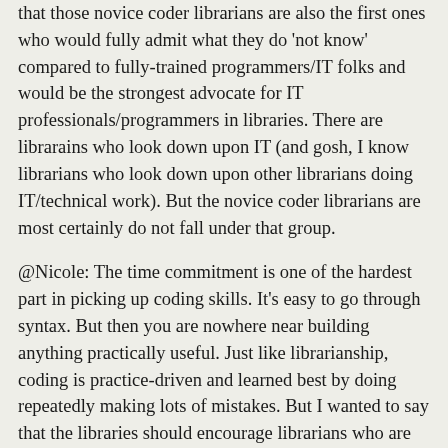that those novice coder librarians are also the first ones who would fully admit what they do 'not know' compared to fully-trained programmers/IT folks and would be the strongest advocate for IT professionals/programmers in libraries. There are librarains who look down upon IT (and gosh, I know librarians who look down upon other librarians doing IT/technical work). But the novice coder librarians are most certainly do not fall under that group.
@Nicole: The time commitment is one of the hardest part in picking up coding skills. It's easy to go through syntax. But then you are nowhere near building anything practically useful. Just like librarianship, coding is practice-driven and learned best by doing repeatedly making lots of mistakes. But I wanted to say that the libraries should encourage librarians who are interested to try precisely because it is difficult. You know, we (I mean librarians) don't attempt to be a wizard; we just want to automate some process and display some data nicely because often we have no access to the Central IT who are far too busy. It may not be up to the industry standard but making something out of nothing is better than making nothing out of